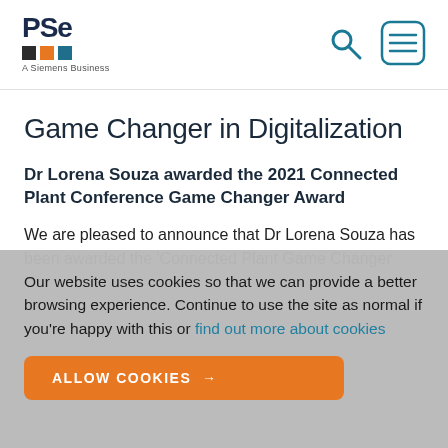PSE — A Siemens Business (logo and navigation)
Game Changer in Digitalization
Dr Lorena Souza awarded the 2021 Connected Plant Conference Game Changer Award
We are pleased to announce that Dr Lorena Souza has been awarded the 'Connected Plant Game Changer…
Our website uses cookies so that we can provide a better browsing experience. Continue to use the site as normal if you're happy with this or find out more about cookies
ALLOW COOKIES →